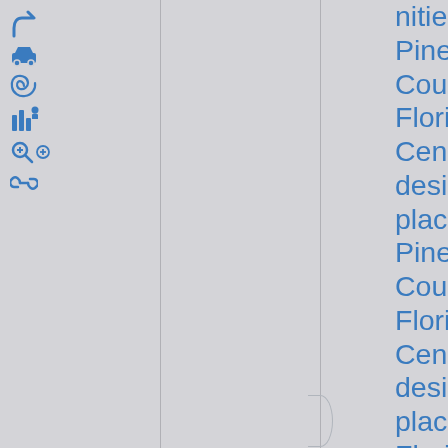[Figure (other): Sidebar icons: arrow/redirect, car, spiral/swirl, bar chart with person, magnifier with plus, chain link]
nities in Pinellas County, Florida, Census-designated places in Pinellas County, Florida, Census-designated places in Florida, Unincorporated communities in Florida, Populated places on the Intracoastal Waterway in Florida, Hidden categories:, Coordinates on Wikidata,